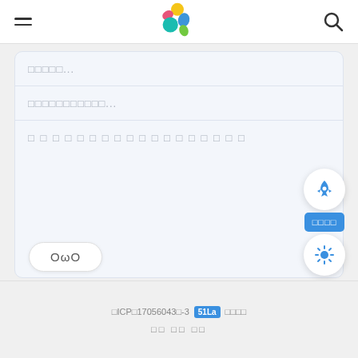[Figure (screenshot): Top navigation bar with hamburger menu icon on the left, colorful flower/petal logo in the center, and search (magnifying glass) icon on the right]
□□□□□...
□□□□□□□□□□□...
□ □ □ □ □ □ □ □ □ □ □ □ □ □ □ □ □ □
OωO
[Figure (screenshot): Floating action buttons: rocket icon circle, blue label with Chinese text, sun/brightness icon circle]
□ICP□17056043□-3  51La  □□□□
□□ □□  □□